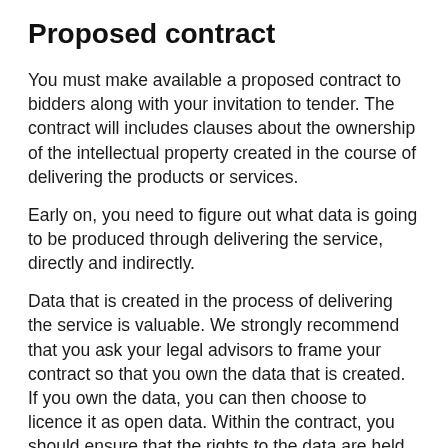Proposed contract
You must make available a proposed contract to bidders along with your invitation to tender. The contract will includes clauses about the ownership of the intellectual property created in the course of delivering the products or services.
Early on, you need to figure out what data is going to be produced through delivering the service, directly and indirectly.
Data that is created in the process of delivering the service is valuable. We strongly recommend that you ask your legal advisors to frame your contract so that you own the data that is created. If you own the data, you can then choose to licence it as open data. Within the contract, you should ensure that the rights to the data are held by you.
Bidders may be prepared to offer a lower contract